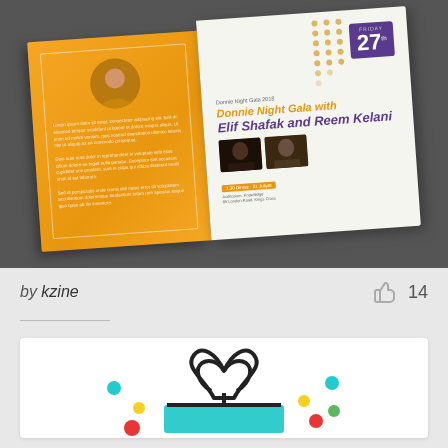[Figure (illustration): Screenshot of a design template website showing an open magazine/brochure template for an event 'Donnie Night Gala with Elif Shafak and Reem Kelani', with an orange left page and white right page with purple date badge showing Friday 27th]
by kzine
[Figure (illustration): Partial illustration of a gift box with colorful ribbon and decorative dots in red, teal, yellow, and green colors on a white background]